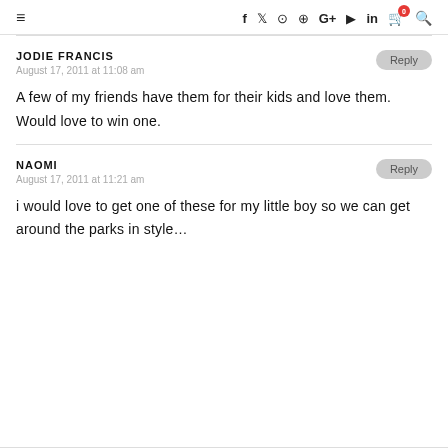≡  f  🐦  ⊙  ⊕  G+  ▶  in  🛒  🔍
JODIE FRANCIS
August 17, 2011 at 11:08 am
A few of my friends have them for their kids and love them. Would love to win one.
NAOMI
August 17, 2011 at 11:21 am
i would love to get one of these for my little boy so we can get around the parks in style…